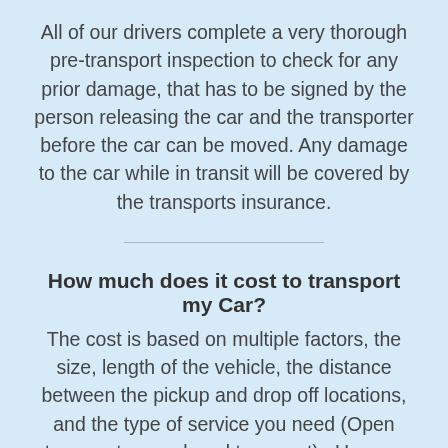All of our drivers complete a very thorough pre-transport inspection to check for any prior damage, that has to be signed by the person releasing the car and the transporter before the car can be moved. Any damage to the car while in transit will be covered by the transports insurance.
How much does it cost to transport my Car?
The cost is based on multiple factors, the size, length of the vehicle, the distance between the pickup and drop off locations, and the type of service you need (Open transport vs enclosed transport) . Use our platform to get an instant quote. There is no obligation to accept the quote but we guarantee satisfaction. If decide to move forward with the transport we just require a 10% deposit, a spot will be reserved on the